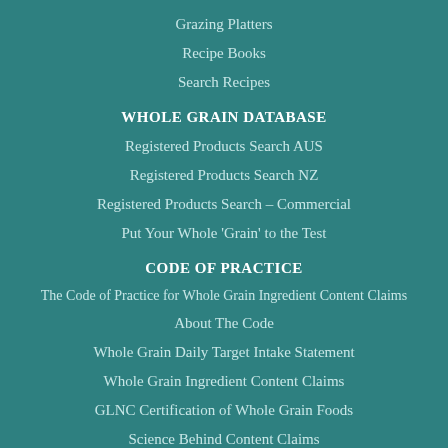Grazing Platters
Recipe Books
Search Recipes
WHOLE GRAIN DATABASE
Registered Products Search AUS
Registered Products Search NZ
Registered Products Search – Commercial
Put Your Whole 'Grain' to the Test
CODE OF PRACTICE
The Code of Practice for Whole Grain Ingredient Content Claims
About The Code
Whole Grain Daily Target Intake Statement
Whole Grain Ingredient Content Claims
GLNC Certification of Whole Grain Foods
Science Behind Content Claims
Code of Practice FAQs